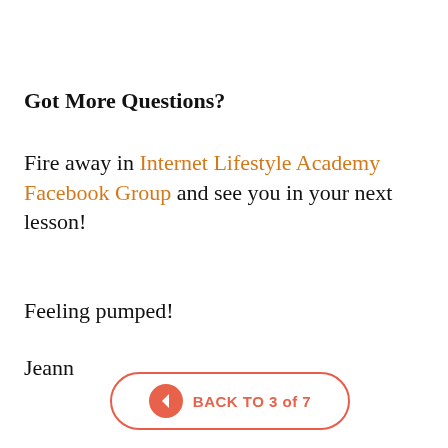Got More Questions?
Fire away in Internet Lifestyle Academy Facebook Group and see you in your next lesson!
Feeling pumped!
Jeann
[Figure (other): Button with back arrow and text 'BACK TO 3 of 7' in orange/red color with rounded rectangle border]